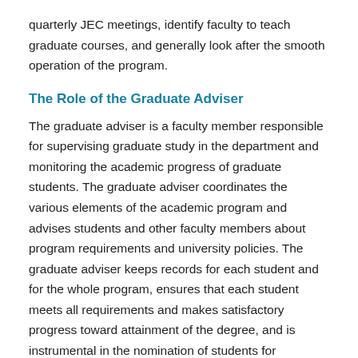quarterly JEC meetings, identify faculty to teach graduate courses, and generally look after the smooth operation of the program.
The Role of the Graduate Adviser
The graduate adviser is a faculty member responsible for supervising graduate study in the department and monitoring the academic progress of graduate students. The graduate adviser coordinates the various elements of the academic program and advises students and other faculty members about program requirements and university policies. The graduate adviser keeps records for each student and for the whole program, ensures that each student meets all requirements and makes satisfactory progress toward attainment of the degree, and is instrumental in the nomination of students for fellowship support and assistantship appointments. The graduate